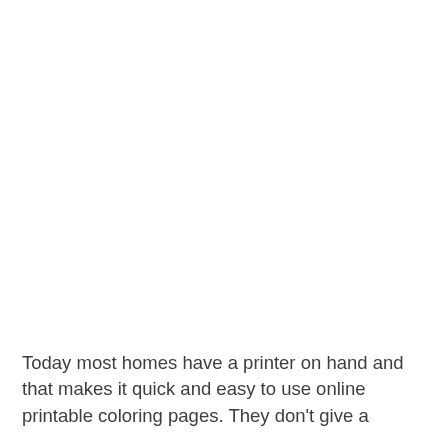Today most homes have a printer on hand and that makes it quick and easy to use online printable coloring pages. They don't give a